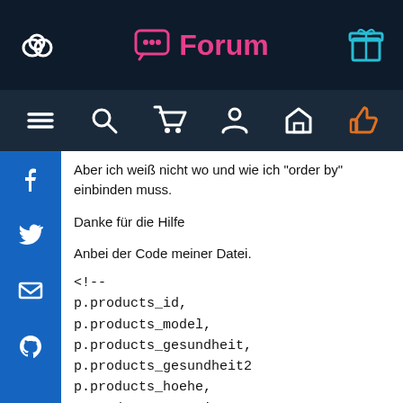Forum
Aber ich weiß nicht wo und wie ich "order by" einbinden muss.
Danke für die Hilfe
Anbei der Code meiner Datei.
<!--
p.products_id,
p.products_model,
p.products_gesundheit,
p.products_gesundheit2
p.products_hoehe,
p.products_quantity,
p.products_duftst,
p.products_weight,
p.products_image,
p.products_price,